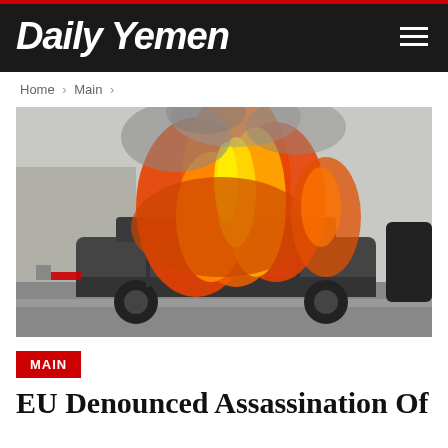Daily Yemen
Home › Main ›
[Figure (photo): A car engulfed in large orange and yellow flames on a road, with doors open and the vehicle frame visible through the fire. Smoke billows upward against a light sky.]
MAIN
EU Denounced Assassination Of